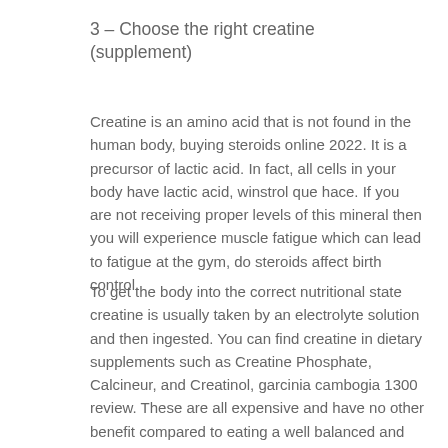3 – Choose the right creatine (supplement)
Creatine is an amino acid that is not found in the human body, buying steroids online 2022. It is a precursor of lactic acid. In fact, all cells in your body have lactic acid, winstrol que hace. If you are not receiving proper levels of this mineral then you will experience muscle fatigue which can lead to fatigue at the gym, do steroids affect birth control.
To get the body into the correct nutritional state creatine is usually taken by an electrolyte solution and then ingested. You can find creatine in dietary supplements such as Creatine Phosphate, Calcineur, and Creatinol, garcinia cambogia 1300 review. These are all expensive and have no other benefit compared to eating a well balanced and balanced protein and proper exercise